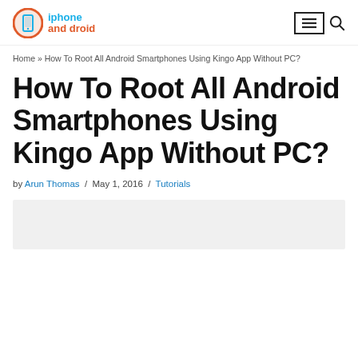iphone and droid
Home » How To Root All Android Smartphones Using Kingo App Without PC?
How To Root All Android Smartphones Using Kingo App Without PC?
by Arun Thomas / May 1, 2016 / Tutorials
[Figure (other): Gray placeholder image area at bottom of page]